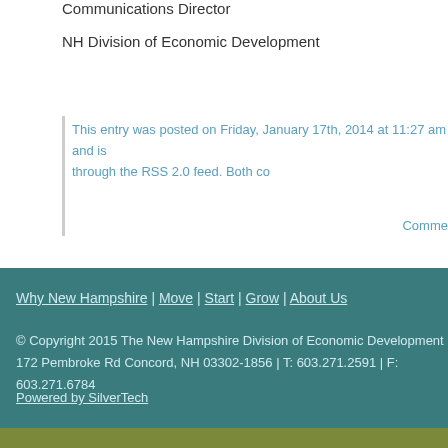Communications Director
NH Division of Economic Development
This entry was posted on Friday, January 17th, 2014 at 11:27 am and is through the RSS 2.0 feed. Both co
Comments
Why New Hampshire | Move | Start | Grow | About Us
© Copyright 2015 The New Hampshire Division of Economic Development
172 Pembroke Rd Concord, NH 03302-1856 | T: 603.271.2591 | F: 603.271.6784
Powered by SilverTech